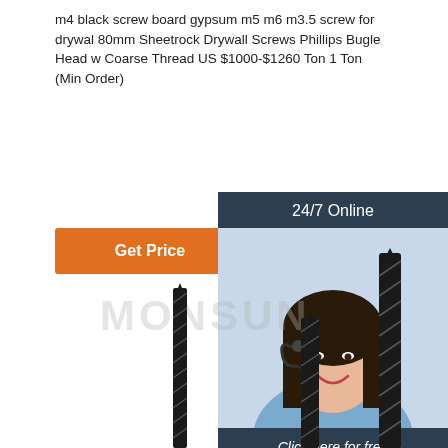m4 black screw board gypsum m5 m6 m3.5 screw for drywal 80mm Sheetrock Drywall Screws Phillips Bugle Head w Coarse Thread US $1000-$1260 Ton 1 Ton (Min Order)
Get Price
[Figure (photo): Chat widget with 24/7 Online header, photo of smiling woman with headset, 'Click here for free chat!' text, and orange QUOTATION button]
[Figure (photo): Watermark text MONSUN and black drywall screws of varying sizes in the lower portion of the image]